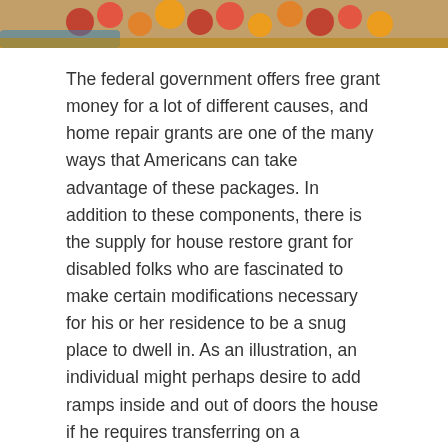[Figure (photo): Partial image of fruits and a person at the top of the page, cropped]
The federal government offers free grant money for a lot of different causes, and home repair grants are one of the many ways that Americans can take advantage of these packages. In addition to these components, there is the supply for house restore grant for disabled folks who are fascinated to make certain modifications necessary for his or her residence to be a snug place to dwell in. As an illustration, an individual might perhaps desire to add ramps inside and out of doors the house if he requires transferring on a wheelchair.
To qualify for house repair grants or loans, you have to both be a United States citizen, or at least someone who has a legal right to reside in the United States completely. Another group that typically gives these grants is HUD